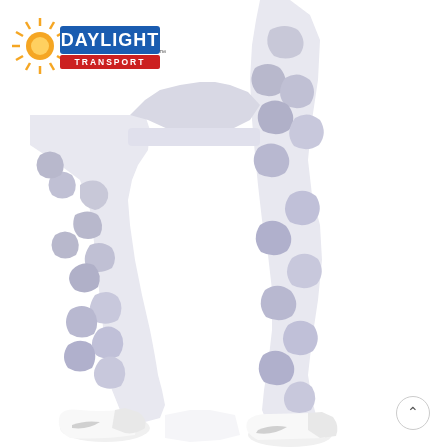[Figure (photo): Product photo of white camouflage pattern athletic leggings worn by a person, showing both legs from mid-thigh to ankle, wearing white Nike sneakers. White background.]
[Figure (logo): Daylight Transport company logo with orange sunburst graphic on the left, blue rectangle with 'DAYLIGHT' text in white bold letters, red horizontal stripe below with 'TRANSPORT' text in white, and a trademark symbol.]